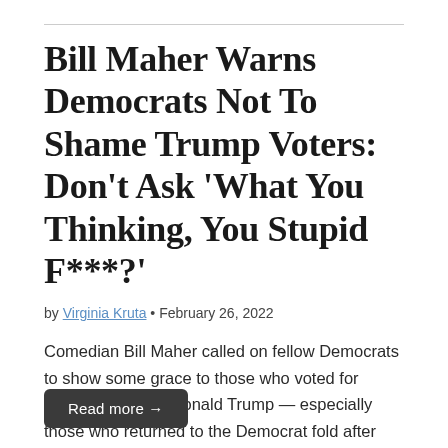Bill Maher Warns Democrats Not To Shame Trump Voters: Don't Ask 'What You Thinking, You Stupid F***?'
by Virginia Kruta • February 26, 2022
Comedian Bill Maher called on fellow Democrats to show some grace to those who voted for former President Donald Trump — especially those who returned to the Democrat fold after doing so. Maher made the argument on Friday's broadcast of "Real Time with Bill Maher" on HBO, comparing Trump voters to people who had just …
Read more →